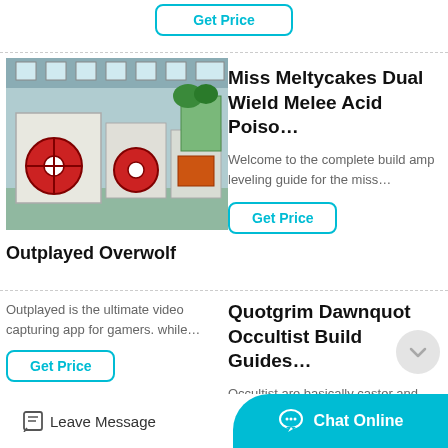Get Price
[Figure (photo): Industrial jaw crushers in a factory setting]
Outplayed Overwolf
Outplayed is the ultimate video capturing app for gamers. while...
Get Price
Miss Meltycakes Dual Wield Melee Acid Poiso…
Welcome to the complete build amp leveling guide for the miss…
Get Price
Quotgrim Dawnquot Occultist Build Guides…
Occultist are basically caster and summoner type of masteries in
Leave Message
Chat Online